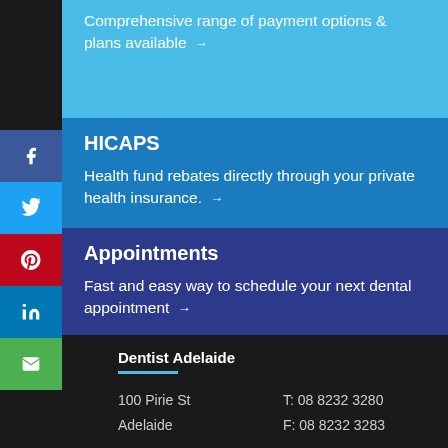Comprehensive range of payment options & plans available →
HICAPS
Health fund rebates directly through your private health insurance. →
Appointments
Fast and easy way to schedule your next dental appointment →
Dentist Adelaide
100 Pirie St
Adelaide
T: 08 8232 3280
F: 08 8232 3283